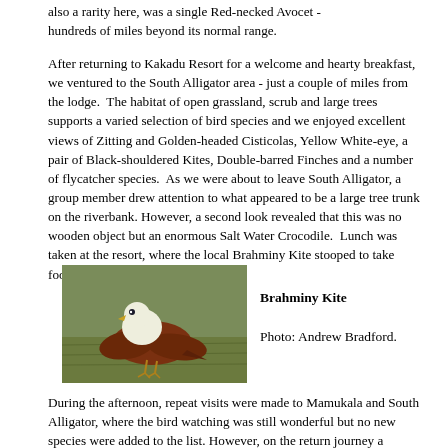also a rarity here, was a single Red-necked Avocet - hundreds of miles beyond its normal range.
After returning to Kakadu Resort for a welcome and hearty breakfast, we ventured to the South Alligator area - just a couple of miles from the lodge.  The habitat of open grassland, scrub and large trees supports a varied selection of bird species and we enjoyed excellent views of Zitting and Golden-headed Cisticolas, Yellow White-eye, a pair of Black-shouldered Kites, Double-barred Finches and a number of flycatcher species.  As we were about to leave South Alligator, a group member drew attention to what appeared to be a large tree trunk on the riverbank. However, a second look revealed that this was no wooden object but an enormous Salt Water Crocodile.  Lunch was taken at the resort, where the local Brahminy Kite stooped to take food from the hand.
[Figure (photo): Photo of a Brahminy Kite bird standing on grass. The bird has a white head and chest with dark brown/chestnut wings and body.]
Brahminy Kite

Photo: Andrew Bradford.
During the afternoon, repeat visits were made to Mamukala and South Alligator, where the bird watching was still wonderful but no new species were added to the list. However, on the return journey a Spotted Harrier was